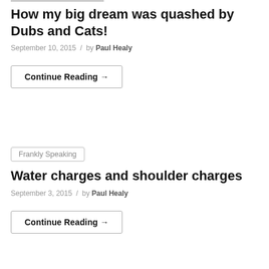How my big dream was quashed by Dubs and Cats!
September 10, 2015 / by Paul Healy
Continue Reading →
Frankly Speaking
Water charges and shoulder charges
September 3, 2015 / by Paul Healy
Continue Reading →